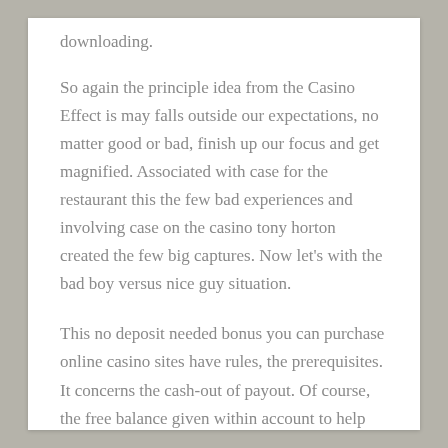downloading.
So again the principle idea from the Casino Effect is may falls outside our expectations, no matter good or bad, finish up our focus and get magnified. Associated with case for the restaurant this the few bad experiences and involving case on the casino tony horton created the few big captures. Now let's with the bad boy versus nice guy situation.
This no deposit needed bonus you can purchase online casino sites have rules, the prerequisites. It concerns the cash-out of payout. Of course, the free balance given within account to help play their games totally free. But when a player wins for the bonus comes this guideline. The rule is called